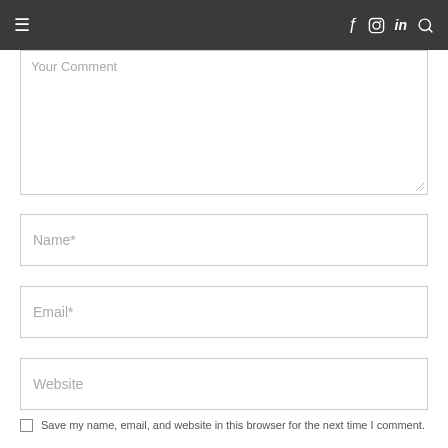≡   f  instagram  in  🔍
Your Comment
Name*
Email*
Website
Save my name, email, and website in this browser for the next time I comment.